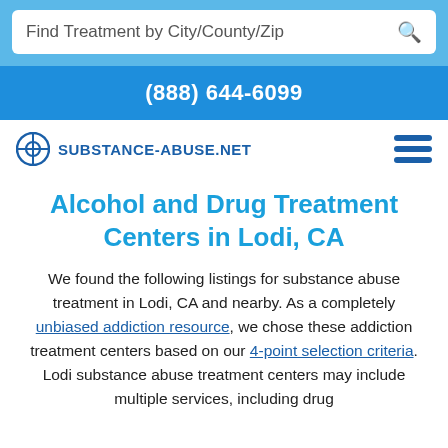Find Treatment by City/County/Zip
(888) 644-6099
[Figure (logo): Substance-Abuse.net logo with circular icon and hamburger menu]
Alcohol and Drug Treatment Centers in Lodi, CA
We found the following listings for substance abuse treatment in Lodi, CA and nearby. As a completely unbiased addiction resource, we chose these addiction treatment centers based on our 4-point selection criteria. Lodi substance abuse treatment centers may include multiple services, including drug